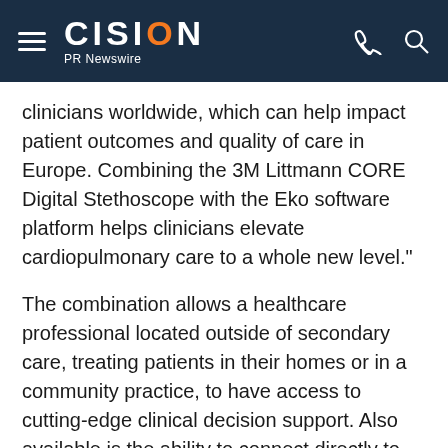CISION PR Newswire
clinicians worldwide, which can help impact patient outcomes and quality of care in Europe. Combining the 3M Littmann CORE Digital Stethoscope with the Eko software platform helps clinicians elevate cardiopulmonary care to a whole new level."
The combination allows a healthcare professional located outside of secondary care, treating patients in their homes or in a community practice, to have access to cutting-edge clinical decision support. Also available is the ability to connect directly to their consultant in secondary care, mitigating the need for the patient to make unnecessary travel into traditional clinic environments.